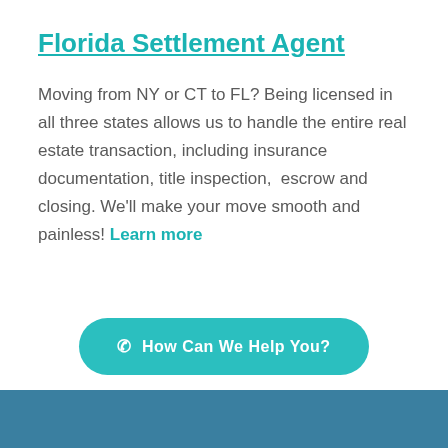Florida Settlement Agent
Moving from NY or CT to FL? Being licensed in all three states allows us to handle the entire real estate transaction, including insurance documentation, title inspection,  escrow and closing. We'll make your move smooth and painless! Learn more
[Figure (other): Teal rounded button with phone icon and text 'How Can We Help You?']
[Figure (photo): Blue banner image at the bottom of the page]